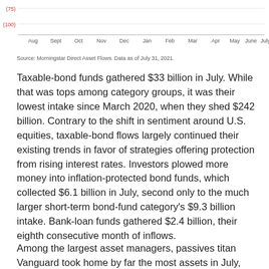[Figure (continuous-plot): Bottom portion of a line chart showing asset flows over time from Aug through July, with y-axis showing values around -75 and -100 (in billions). The x-axis shows months: Aug, Sept, Oct, Nov, Dec, Jan, Feb, Mar, Apr, May, June, July.]
Source: Morningstar Direct Asset Flows. Data as of July 31, 2021.
Taxable-bond funds gathered $33 billion in July. While that was tops among category groups, it was their lowest intake since March 2020, when they shed $242 billion. Contrary to the shift in sentiment around U.S. equities, taxable-bond flows largely continued their existing trends in favor of strategies offering protection from rising interest rates. Investors plowed more money into inflation-protected bond funds, which collected $6.1 billion in July, second only to the much larger short-term bond-fund category's $9.3 billion intake. Bank-loan funds gathered $2.4 billion, their eighth consecutive month of inflows.
Among the largest asset managers, passives titan Vanguard took home by far the most assets in July, pulling